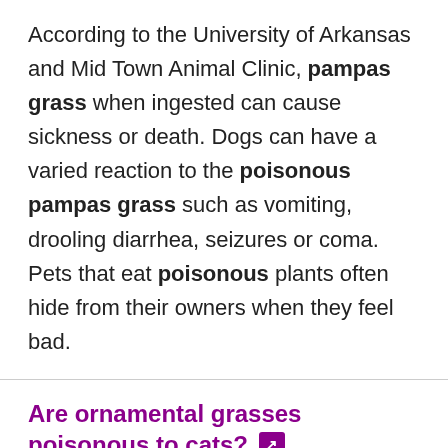According to the University of Arkansas and Mid Town Animal Clinic, pampas grass when ingested can cause sickness or death. Dogs can have a varied reaction to the poisonous pampas grass such as vomiting, drooling diarrhea, seizures or coma. Pets that eat poisonous plants often hide from their owners when they feel bad.
Are ornamental grasses poisonous to cats?
Most cats nibble on grass, despite the fact they can't digest it. This is pretty much so -- in fact, it may even be good for their health -- and common ornamental grasses aren't